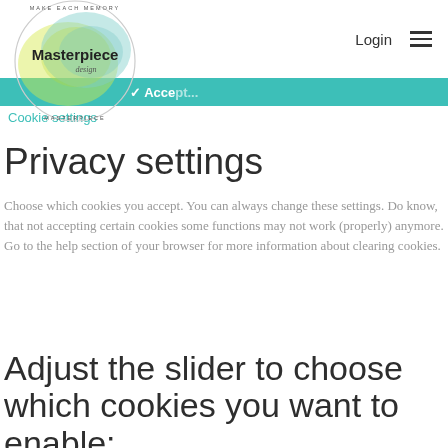Login ≡
[Figure (logo): Masterpiece design logo — circular watercolor design with yellow and teal splashes, text 'MAKE EACH MEMORY MASTERPIECE' around ring, 'Masterpiece design' in center]
✓ Acce...
Cookie settings
Privacy settings
Choose which cookies you accept. You can always change these settings. Do know, that not accepting certain cookies some functions may not work (properly) anymore. Go to the help section of your browser for more information about clearing cookies.
Adjust the slider to choose which cookies you want to enable: